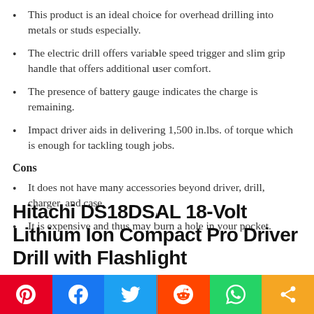This product is an ideal choice for overhead drilling into metals or studs especially.
The electric drill offers variable speed trigger and slim grip handle that offers additional user comfort.
The presence of battery gauge indicates the charge is remaining.
Impact driver aids in delivering 1,500 in.lbs. of torque which is enough for tackling tough jobs.
Cons
It does not have many accessories beyond driver, drill, charger, and case.
It is expensive and thus may burn a hole in your pocket.
Hitachi DS18DSAL 18-Volt Lithium Ion Compact Pro Driver Drill with Flashlight
[Figure (infographic): Social share bar with Pinterest, Facebook, Twitter, Reddit, WhatsApp, and Share buttons]